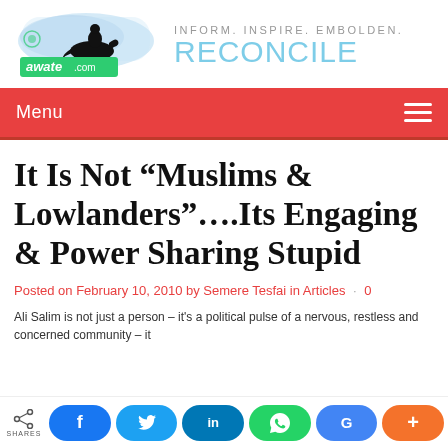[Figure (logo): Awate.com logo with silhouette of rider on horse and watercolor brush background, with green text 'awate.com']
INFORM. INSPIRE. EMBOLDEN. RECONCILE
Menu
It Is Not “Muslims & Lowlanders”….Its Engaging & Power Sharing Stupid
Posted on February 10, 2010 by Semere Tesfai in Articles · 0
Ali Salim is not just a person – it’s a political pulse of a nervous, restless and concerned community – it